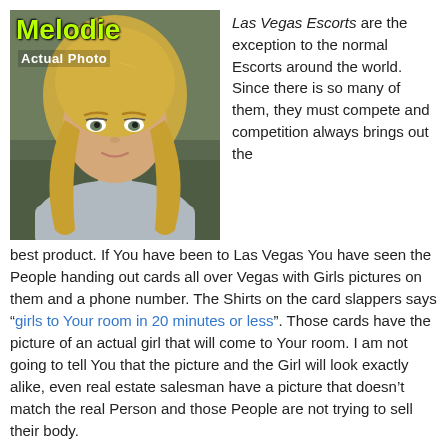[Figure (photo): Portrait photo of a blonde woman labeled 'Melodie' with text 'Actual Photo' overlaid on the image]
Las Vegas Escorts are the exception to the normal Escorts around the world. Since there is so many of them, they must compete and competition always brings out the best product. If You have been to Las Vegas You have seen the People handing out cards all over Vegas with Girls pictures on them and a phone number. The Shirts on the card slappers says “girls to Your room in 20 minutes or less”. Those cards have the picture of an actual girl that will come to Your room. I am not going to tell You that the picture and the Girl will look exactly alike, even real estate salesman have a picture that doesn’t match the real Person and those People are not trying to sell their body.